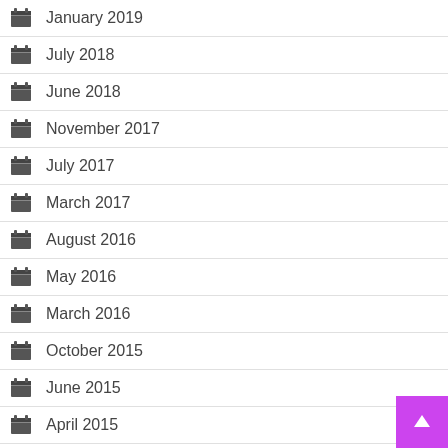January 2019
July 2018
June 2018
November 2017
July 2017
March 2017
August 2016
May 2016
March 2016
October 2015
June 2015
April 2015
December 2013